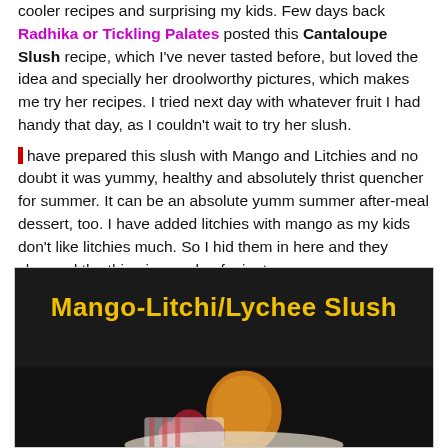cooler recipes and surprising my kids. Few days back Radhika or Tickling Palates posted this Cantaloupe Slush recipe, which I've never tasted before, but loved the idea and specially her droolworthy pictures, which makes me try her recipes. I tried next day with whatever fruit I had handy that day, as I couldn't wait to try her slush.
I have prepared this slush with Mango and Litchies and no doubt it was yummy, healthy and absolutely thrist quencher for summer. It can be an absolute yumm summer after-meal dessert, too. I have added litchies with mango as my kids don't like litchies much. So I hid them in here and they slurpped the thing in couple of minutes.
[Figure (photo): Photo of a mango-litchi/lychee slush drink with text overlay 'Mango-Litchi/Lychee Slush' in yellow bold font on dark background, with fruits visible at bottom]